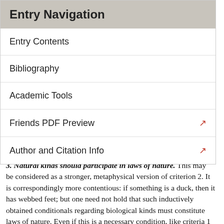Entry Navigation
Entry Contents
Bibliography
Academic Tools
Friends PDF Preview
Author and Citation Info
3. Natural kinds should participate in laws of nature. This may be considered as a stronger, metaphysical version of criterion 2. It is correspondingly more contentious: if something is a duck, then it has webbed feet; but one need not hold that such inductively obtained conditionals regarding biological kinds must constitute laws of nature. Even if this is a necessary condition, like criteria 1 and 2, it fails to be a sufficient criterion. For laws of nature may concern natural qualities and quantities that do not define kinds (e.g. Newton's law of gravitation).